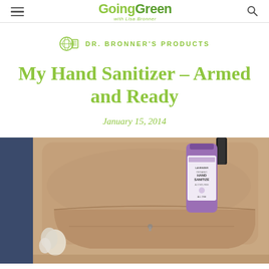Going Green with Lisa Bronner
DR. BRONNER'S PRODUCTS
My Hand Sanitizer – Armed and Ready
January 15, 2014
[Figure (photo): A tan canvas bag with a purple bottle of Dr. Bronner's Lavender Organic Hand Sanitizer tucked in the side pocket, white keys visible on the left side]